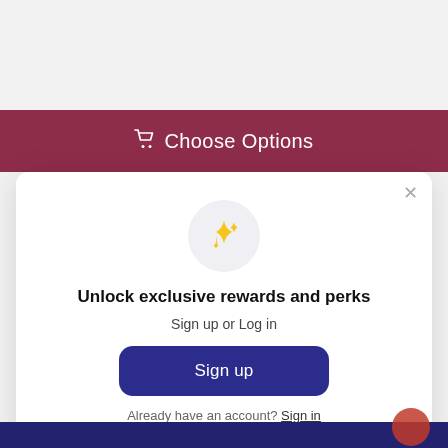🛒 Choose Options
Neue Schule
[Figure (screenshot): Modal dialog with sparkle icon, heading 'Unlock exclusive rewards and perks', subtext 'Sign up or Log in', a 'Sign up' button, and a 'Already have an account? Sign in' footer link. A close (×) button is in the top right of the modal.]
Unlock exclusive rewards and perks
Sign up or Log in
Sign up
Already have an account? Sign in